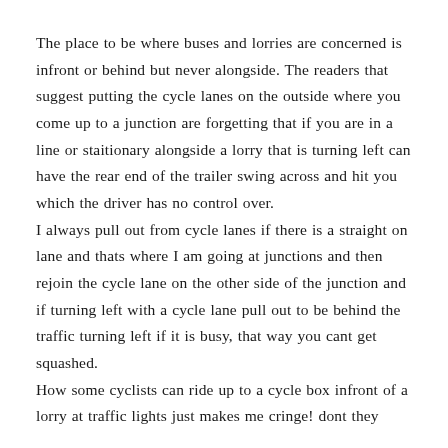The place to be where buses and lorries are concerned is infront or behind but never alongside. The readers that suggest putting the cycle lanes on the outside where you come up to a junction are forgetting that if you are in a line or staitionary alongside a lorry that is turning left can have the rear end of the trailer swing across and hit you which the driver has no control over.
I always pull out from cycle lanes if there is a straight on lane and thats where I am going at junctions and then rejoin the cycle lane on the other side of the junction and if turning left with a cycle lane pull out to be behind the traffic turning left if it is busy, that way you cant get squashed.
How some cyclists can ride up to a cycle box infront of a lorry at traffic lights just makes me cringe! dont they